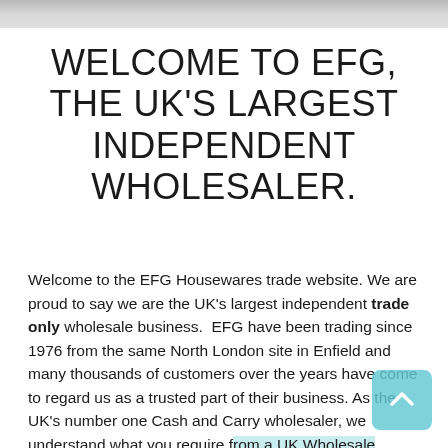[Figure (photo): Partial photo visible at the top of the page, appears to be a product or housewares image cropped to a thin strip]
WELCOME TO EFG, THE UK'S LARGEST INDEPENDENT WHOLESALER.
Welcome to the EFG Housewares trade website. We are proud to say we are the UK's largest independent trade only wholesale business. EFG have been trading since 1976 from the same North London site in Enfield and many thousands of customers over the years have come to regard us as a trusted part of their business. As the UK's number one Cash and Carry wholesaler, we understand what you require from a UK Wholesale supplier and that is the largest range, at the best prices, every day. We are now absolutely delighted to be able to